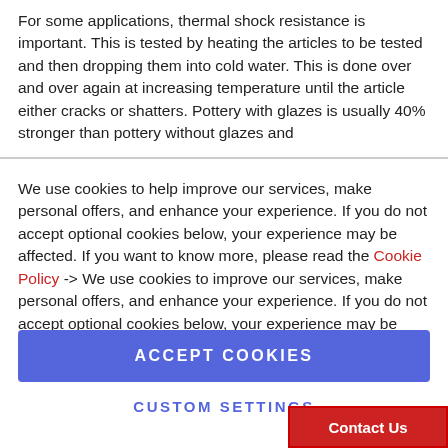For some applications, thermal shock resistance is important. This is tested by heating the articles to be tested and then dropping them into cold water. This is done over and over again at increasing temperature until the article either cracks or shatters. Pottery with glazes is usually 40% stronger than pottery without glazes and
We use cookies to help improve our services, make personal offers, and enhance your experience. If you do not accept optional cookies below, your experience may be affected. If you want to know more, please read the Cookie Policy -> We use cookies to improve our services, make personal offers, and enhance your experience. If you do not accept optional cookies below, your experience may be affected. If you want to know more, please, read the Cookie Policy
ACCEPT COOKIES
CUSTOM SETTINGS
Contact Us